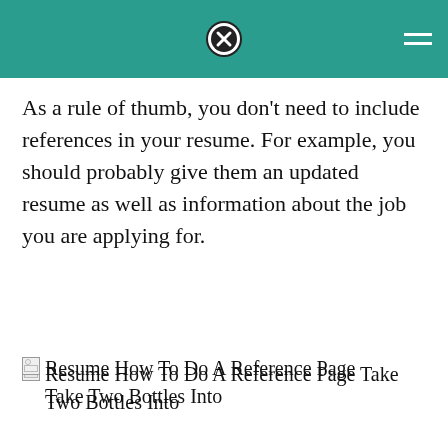As a rule of thumb, you don't need to include references in your resume. For example, you should probably give them an updated resume as well as information about the job you are applying for.
[Figure (photo): Broken image placeholder with alt text: Resume How To Do A Reference Page Take Two Bottles Into]
Source: goldmanfamilymusic.blogspot.com
Occasionally, however, companies will request that applicants provide a list of references when they initially apply for a job.